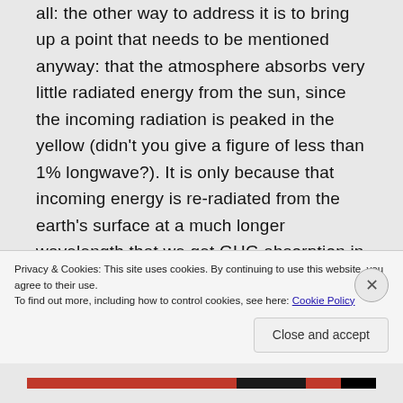all: the other way to address it is to bring up a point that needs to be mentioned anyway: that the atmosphere absorbs very little radiated energy from the sun, since the incoming radiation is peaked in the yellow (didn't you give a figure of less than 1% longwave?). It is only because that incoming energy is re-radiated from the earth's surface at a much longer wavelength that we get GHG absorption in the atmosphere at all.
Privacy & Cookies: This site uses cookies. By continuing to use this website, you agree to their use. To find out more, including how to control cookies, see here: Cookie Policy